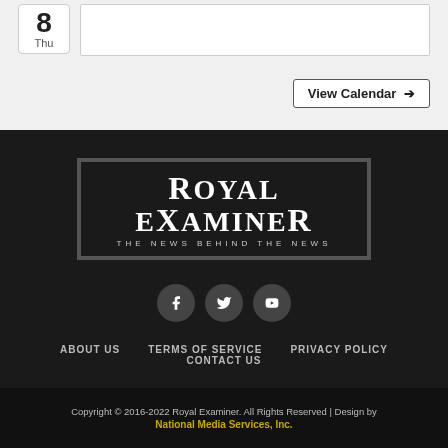8 Thu
View Calendar →
[Figure (logo): Royal Examiner logo — white text on dark background with border, tagline: THE NEWS BEHIND THE NEWS]
[Figure (illustration): Social media icons: Facebook, Twitter, YouTube — white icons on dark circular backgrounds]
ABOUT US   TERMS OF SERVICE   PRIVACY POLICY   CONTACT US
Copyright © 2016-2022 Royal Examiner. All Rights Reserved | Design by National Media Services, Inc.